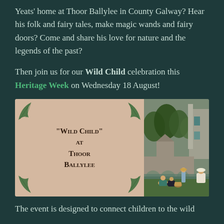Yeats' home at Thoor Ballylee in County Galway? Hear his folk and fairy tales, make magic wands and fairy doors? Come and share his love for nature and the legends of the past?
Then join us for our Wild Child celebration this Heritage Week on Wednesday 18 August!
[Figure (illustration): Composite image: left panel shows a pink/tan background with leaf decorations and text '"Wild Child" at Thoor Ballylee' in dark brown small-caps font. Right panel shows a photograph of children playing near a stone castle bridge with water, trees in background.]
The event is designed to connect children to the wild